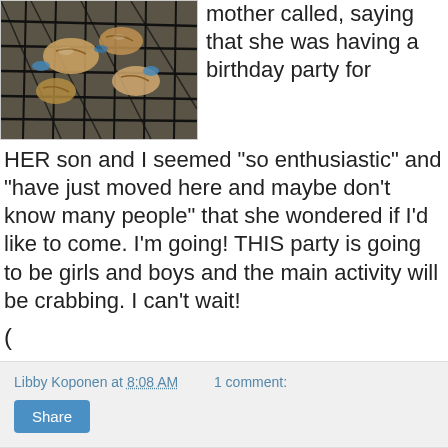[Figure (photo): Photo of crabs in a wire mesh/net trap, blue crabs visible]
mother called, saying that she was having a birthday party for HER son and I seemed "so enthusiastic" and "have just moved here and maybe don't know many people" that she wondered if I'd like to come. I'm going! THIS party is going to be girls and boys and the main activity will be crabbing. I can't wait!
(
Libby Koponen at 8:08 AM   1 comment:
Share
Friday, July 13, 2007
Yoga results (physical)